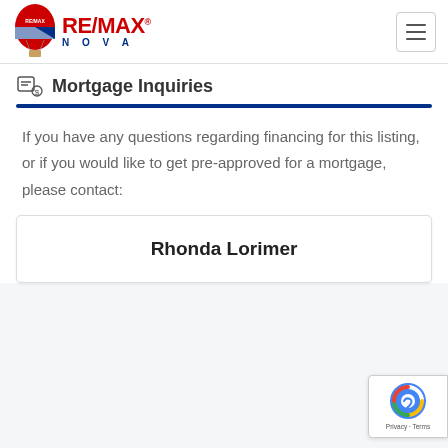[Figure (logo): RE/MAX Nova logo with balloon icon and hamburger menu button in top navigation bar]
Mortgage Inquiries
If you have any questions regarding financing for this listing, or if you would like to get pre-approved for a mortgage, please contact:
Rhonda Lorimer